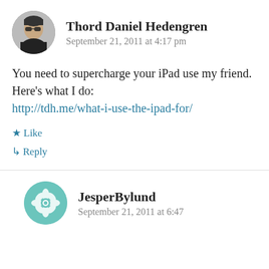[Figure (photo): Circular avatar photo of Thord Daniel Hedengren wearing sunglasses]
Thord Daniel Hedengren
September 21, 2011 at 4:17 pm
You need to supercharge your iPad use my friend. Here’s what I do:
http://tdh.me/what-i-use-the-ipad-for/
★ Like
↵ Reply
[Figure (logo): Circular teal geometric mandala/flower avatar for JesperBylund]
JesperBylund
September 21, 2011 at 6:47